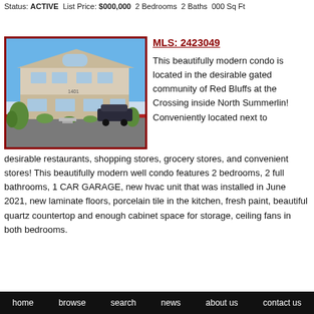Status: ACTIVE  List Price: $000,000  2 Bedrooms  2 Baths  000 Sq Ft
MLS: 2423049
[Figure (photo): Exterior photo of a two-story light-colored stucco condo building with blue sky background, parked car visible in front, landscaping with small trees and shrubs]
This beautifully modern condo is located in the desirable gated community of Red Bluffs at the Crossing inside North Summerlin! Conveniently located next to desirable restaurants, shopping stores, grocery stores, and convenient stores! This beautifully modern well condo features 2 bedrooms, 2 full bathrooms, 1 CAR GARAGE, new hvac unit that was installed in June 2021, new laminate floors, porcelain tile in the kitchen, fresh paint, beautiful quartz countertop and enough cabinet space for storage, ceiling fans in both bedrooms.
home   browse   search   news   about us   contact us